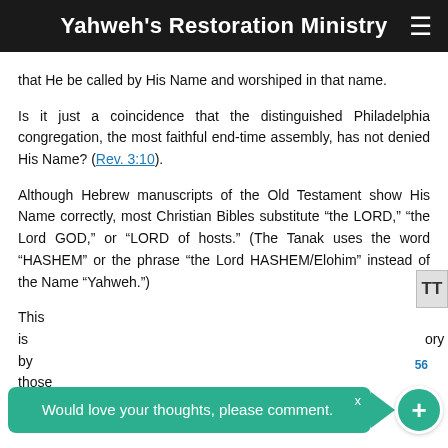Yahweh's Restoration Ministry
that He be called by His Name and worshiped in that name.
Is it just a coincidence that the distinguished Philadelphia congregation, the most faithful end-time assembly, has not denied His Name? (Rev. 3:10).
Although Hebrew manuscripts of the Old Testament show His Name correctly, most Christian Bibles substitute “the LORD,” “the Lord GOD,” or “LORD of hosts.” (The Tanak uses the word “HASHEM” or the phrase “the Lord HASHEM/Elohim” instead of the Name “Yahweh.”)
This is true for the most part, spanning all of history by those... students know Yahweh’s Name today—as well as the
[Figure (infographic): Green toast notification banner reading 'Would love your thoughts, please comment.' with an X close button and a teal plus button circle on the right side.]